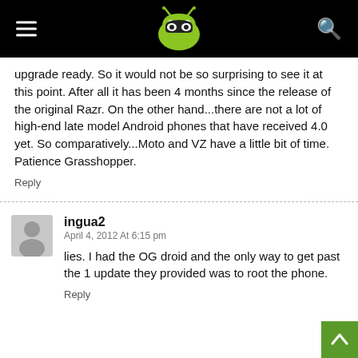AndroidAuthority header with logo
upgrade ready.  So it would not be so surprising to see it at this point.  After all it has been 4 months since the release of the original Razr.  On the other hand...there are not a lot of high-end late model Android phones that have received 4.0 yet.  So comparatively...Moto and VZ have a little bit of time.  Patience Grasshopper.
Reply
ingua2
April 4, 2012 At 6:15 pm
lies.  I had the OG droid and the only way to get past the 1 update they provided was to root the phone.
Reply